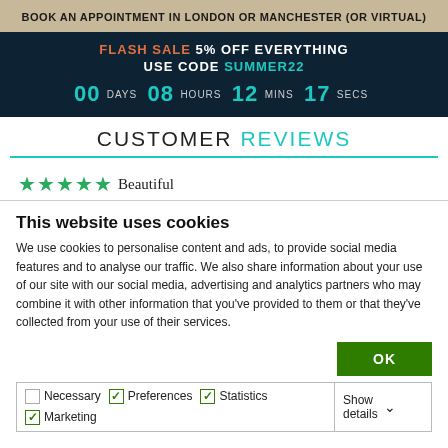BOOK AN APPOINTMENT IN LONDON OR MANCHESTER (OR VIRTUAL)
FLASH SALE 5% OFF EVERYTHING USE CODE SUMMER22 00 DAYS 08 HOURS 12 MINS 17 SECS
CUSTOMER REVIEWS
★★★★★ Beautiful
This website uses cookies
We use cookies to personalise content and ads, to provide social media features and to analyse our traffic. We also share information about your use of our site with our social media, advertising and analytics partners who may combine it with other information that you've provided to them or that they've collected from your use of their services.
OK
Necessary  Preferences  Statistics  Marketing  Show details